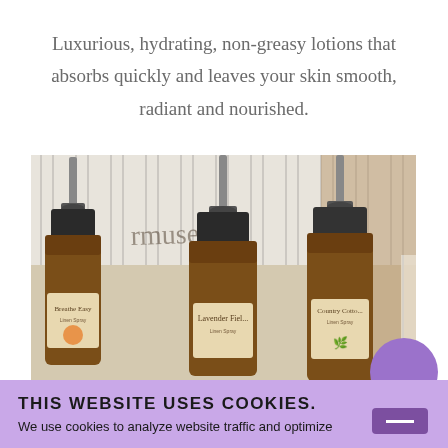Luxurious, hydrating, non-greasy lotions that absorbs quickly and leaves your skin smooth, radiant and nourished.
[Figure (photo): Three amber glass spray bottles with pump tops, labeled 'Breathe Easy Linen Spray', 'Lavender Field Linen Spray', and 'Country Cotton Linen Spray', arranged in front of a farmhouse-style striped fabric backdrop with a wooden sign reading 'farmhouse'.]
THIS WEBSITE USES COOKIES.
We use cookies to analyze website traffic and optimize